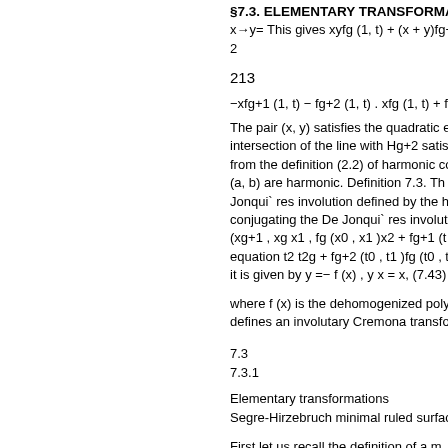§7.3. ELEMENTARY TRANSFORMATIONS
x→y= This gives xyfg (1, t) + (x + y)fg+
2
213
The pair (x, y) satisfies the quadratic e intersection of the line with Hg+2 satisfi from the definition (2.2) of harmonic co (a, b) are harmonic. Definition 7.3. Th Jonqui` res involution defined by the h conjugating the De Jonqui` res involut (xg+1 , xg x1 , fg (x0 , x1 )x2 + fg+1 (t equation t2 t2g + fg+2 (t0 , t1 )fg (t0 , t1 it is given by y =− f (x) , y x = x, (7.43)
where f (x) is the dehomogenized poly defines an involutary Cremona transfor
7.3
7.3.1
Elementary transformations
Segre-Hirzebruch minimal ruled surface
First let us recall the definition of a m